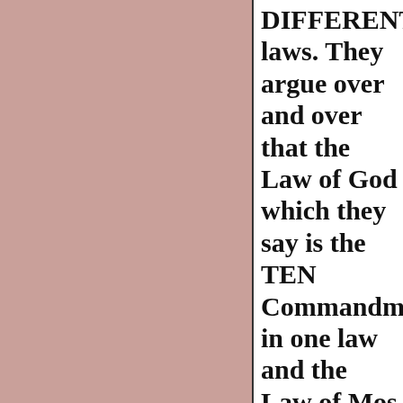DIFFERENT laws. They argue over and over that the Law of God which they say is the TEN Commandments in one law and the Law of Mo...